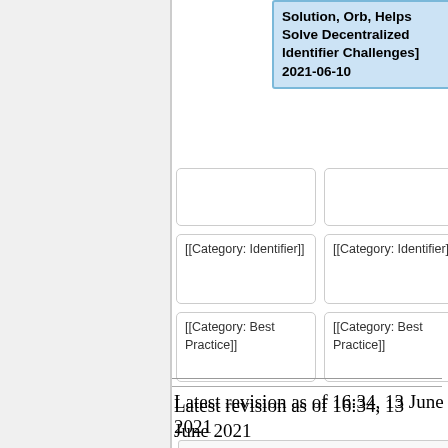Solution, Orb, Helps Solve Decentralized Identifier Challenges]
2021-06-10
[[Category: Identifier]]
[[Category: Identifier]]
[[Category: Best Practice]]
[[Category: Best Practice]]
Latest revision as of 16:34, 13 June 2021
Contents [hide]
1 Full Title
2 Context
2.1 Taxonomy